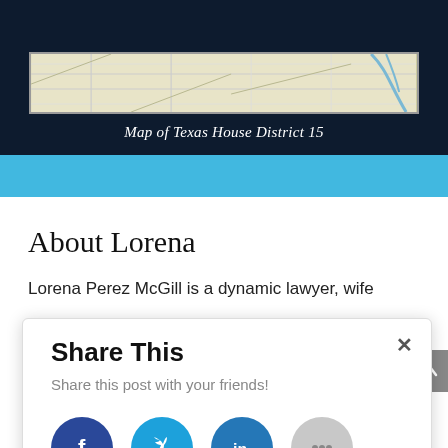[Figure (map): Map of Texas House District 15 showing road network and geographic features]
Map of Texas House District 15
About Lorena
Lorena Perez McGill is a dynamic lawyer, wife
[Figure (infographic): Share This popup with social media buttons: Facebook, Twitter, LinkedIn, and More options (...)]